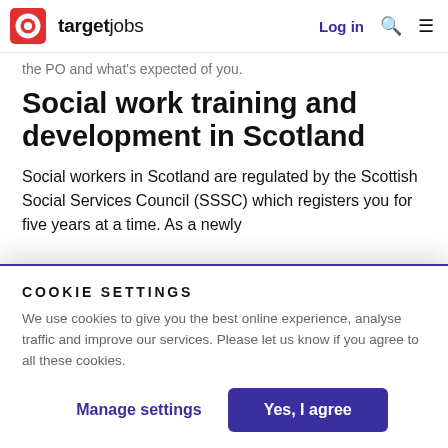targetjobs | Log in
the PO and what's expected of you.
Social work training and development in Scotland
Social workers in Scotland are regulated by the Scottish Social Services Council (SSSC) which registers you for five years at a time. As a newly
COOKIE SETTINGS
We use cookies to give you the best online experience, analyse traffic and improve our services. Please let us know if you agree to all these cookies.
Manage settings
Yes, I agree